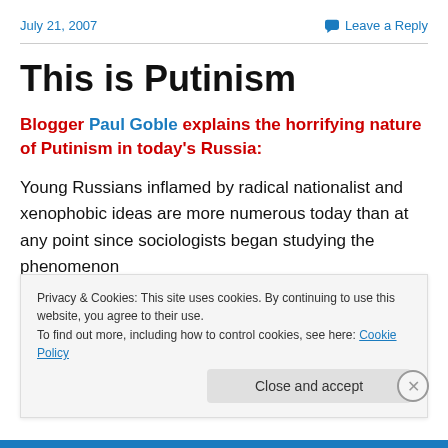July 21, 2007
Leave a Reply
This is Putinism
Blogger Paul Goble explains the horrifying nature of Putinism in today's Russia:
Young Russians inflamed by radical nationalist and xenophobic ideas are more numerous today than at any point since sociologists began studying the phenomenon
Privacy & Cookies: This site uses cookies. By continuing to use this website, you agree to their use.
To find out more, including how to control cookies, see here: Cookie Policy
Close and accept